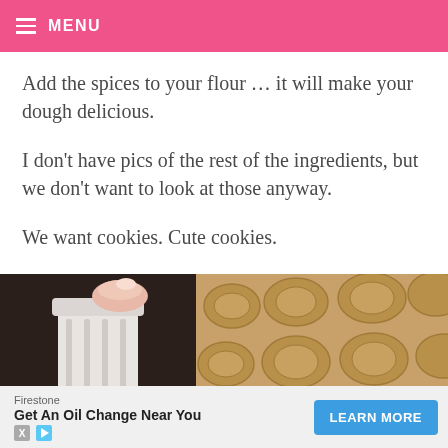MENU
Add the spices to your flour ... it will make your dough delicious.
I don't have pics of the rest of the ingredients, but we don't want to look at those anyway.
We want cookies. Cute cookies.
[Figure (photo): Two side-by-side close-up photos: left photo shows a finger pressing a white fluted cookie cutter into dough; right photo shows brown cookie dough with oval impression patterns.]
Firestone — Get An Oil Change Near You — LEARN MORE